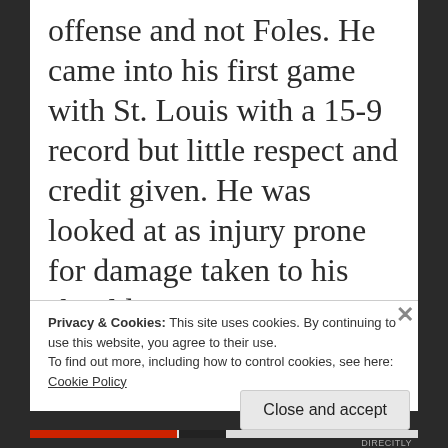offense and not Foles. He came into his first game with St. Louis with a 15-9 record but little respect and credit given. He was looked at as injury prone for damage taken to his shoulder in 2014. Any Rams fan that had reservations about the trade for Foles isn't holding them today. The 26 year old has turned
Privacy & Cookies: This site uses cookies. By continuing to use this website, you agree to their use.
To find out more, including how to control cookies, see here:
Cookie Policy
Close and accept